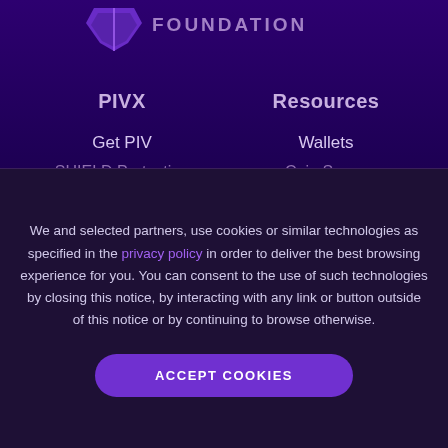[Figure (logo): PIVX Foundation logo partially visible at top of page]
PIVX
Resources
Get PIV
Wallets
SHIELD Protection
Coin Specs
We and selected partners, use cookies or similar technologies as specified in the privacy policy in order to deliver the best browsing experience for you. You can consent to the use of such technologies by closing this notice, by interacting with any link or button outside of this notice or by continuing to browse otherwise.
ACCEPT COOKIES